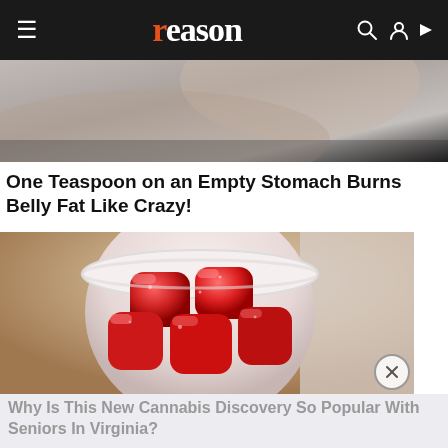reason
[Figure (photo): Partial cropped photo showing a person, used as an advertisement image, partially visible at top of page]
One Teaspoon on an Empty Stomach Burns Belly Fat Like Crazy!
[Figure (photo): Hand holding a small white cup filled with red sugary gummy candy cubes, close-up photo]
Why Is This New Cannabis Discovery So Popular With Seniors In Virginia?